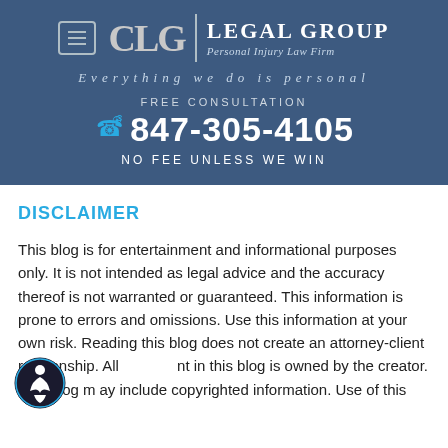[Figure (logo): CLG Legal Group logo with menu icon, CLG initials, vertical divider, and firm name 'LEGAL GROUP / Personal Injury Law Firm']
Everything we do is personal
FREE CONSULTATION
847-305-4105
NO FEE UNLESS WE WIN
DISCLAIMER
This blog is for entertainment and informational purposes only. It is not intended as legal advice and the accuracy thereof is not warranted or guaranteed. This information is prone to errors and omissions. Use this information at your own risk. Reading this blog does not create an attorney-client relationship. All content in this blog is owned by the creator. This blog may include copyrighted information. Use of this